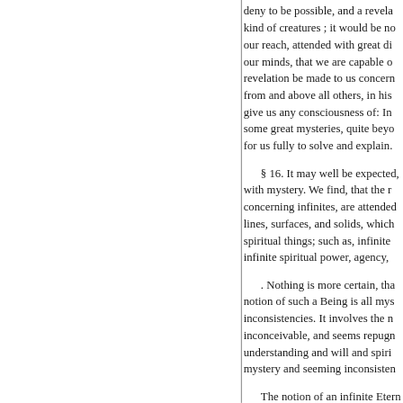deny to be possible, and a revela kind of creatures ; it would be no our reach, attended with great di our minds, that we are capable o revelation be made to us concern from and above all others, in his give us any consciousness of: In some great mysteries, quite beyo for us fully to solve and explain.
§ 16. It may well be expected, with mystery. We find, that the r concerning infinites, are attended lines, surfaces, and solids, which spiritual things; such as, infinite infinite spiritual power, agency,
. Nothing is more certain, tha notion of such a Being is all mys inconsistencies. It involves the n inconceivable, and seems repugn understanding and will and spiri mystery and seeming inconsisten
The notion of an infinite Etern